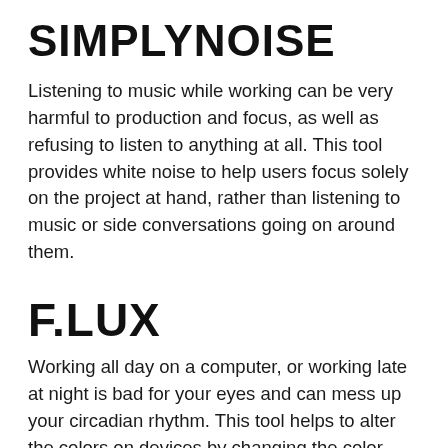SIMPLYNOISE
Listening to music while working can be very harmful to production and focus, as well as refusing to listen to anything at all. This tool provides white noise to help users focus solely on the project at hand, rather than listening to music or side conversations going on around them.
F.LUX
Working all day on a computer, or working late at night is bad for your eyes and can mess up your circadian rhythm. This tool helps to alter the colors on devices by changing the color